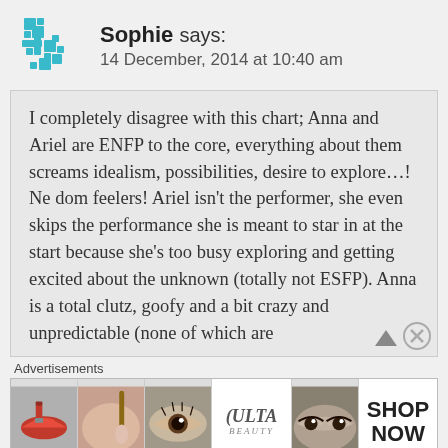[Figure (logo): Teal/blue pixelated puzzle-piece or cross-shaped avatar icon for user Sophie]
Sophie says:
14 December, 2014 at 10:40 am
I completely disagree with this chart; Anna and Ariel are ENFP to the core, everything about them screams idealism, possibilities, desire to explore…! Ne dom feelers! Ariel isn't the performer, she even skips the performance she is meant to star in at the start because she's too busy exploring and getting excited about the unknown (totally not ESFP). Anna is a total clutz, goofy and a bit crazy and unpredictable (none of which are
Advertisements
[Figure (photo): ULTA Beauty advertisement banner with makeup/cosmetics imagery and SHOP NOW call to action]